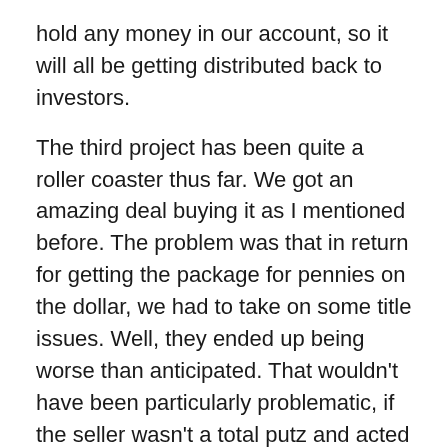hold any money in our account, so it will all be getting distributed back to investors.
The third project has been quite a roller coaster thus far. We got an amazing deal buying it as I mentioned before. The problem was that in return for getting the package for pennies on the dollar, we had to take on some title issues. Well, they ended up being worse than anticipated. That wouldn't have been particularly problematic, if the seller wasn't a total putz and acted even close the the way he was contractually obligated. Because of his ineptitude, we've incurred much expense and wasted time. He sends us replacement files, so we spend a week doing due diligence, and then he says he find the files. Stuff like that has made this process unbelievably frustrating. We are asking for a large settlement and/or will take him to court for the damages he's caused.